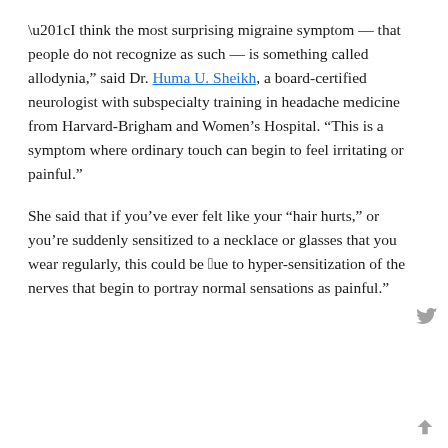“I think the most surprising migraine symptom — that people do not recognize as such — is something called allodynia,” said Dr. Huma U. Sheikh, a board-certified neurologist with subspecialty training in headache medicine from Harvard-Brigham and Women’s Hospital. “This is a symptom where ordinary touch can begin to feel irritating or painful.”
She said that if you’ve ever felt like your “hair hurts,” or you’re suddenly sensitized to a necklace or glasses that you wear regularly, this could be “due to hyper-sensitization of the nerves that begin to portray normal sensations as painful.”